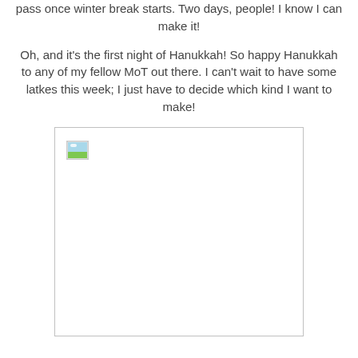pass once winter break starts. Two days, people! I know I can make it!
Oh, and it's the first night of Hanukkah! So happy Hanukkah to any of my fellow MoT out there. I can't wait to have some latkes this week; I just have to decide which kind I want to make!
[Figure (photo): A broken/missing image placeholder with a small thumbnail icon in the top-left corner, rendered as an empty white rectangle with a border.]